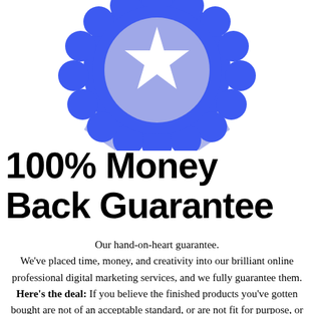[Figure (illustration): Blue award/medal badge with ribbon tails. The badge has a dark blue scalloped outer ring, a lighter blue circular center with a white star, and two light periwinkle ribbon tails hanging below.]
100% Money Back Guarantee
Our hand-on-heart guarantee. We've placed time, money, and creativity into our brilliant online professional digital marketing services, and we fully guarantee them. Here's the deal: If you believe the finished products you've gotten bought are not of an acceptable standard, or are not fit for purpose, or don't match our description, let us know as soon as possible. Provided you let us know within ten days we'll return your hard-earned money the...